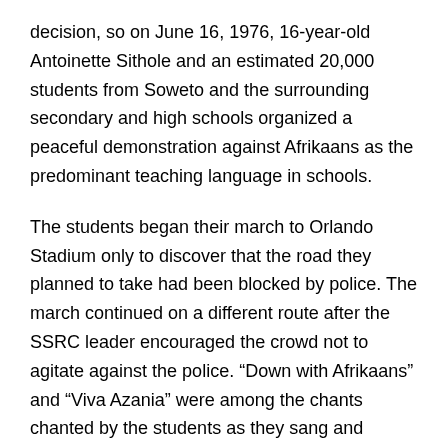decision, so on June 16, 1976, 16-year-old Antoinette Sithole and an estimated 20,000 students from Soweto and the surrounding secondary and high schools organized a peaceful demonstration against Afrikaans as the predominant teaching language in schools.
The students began their march to Orlando Stadium only to discover that the road they planned to take had been blocked by police. The march continued on a different route after the SSRC leader encouraged the crowd not to agitate against the police. “Down with Afrikaans” and “Viva Azania” were among the chants chanted by the students as they sang and waved placards.
The police responded by shooting tear gas and then live bullets at the protesting youngsters. The police began shooting at the demonstrators, and Sithole’s 13-year-old